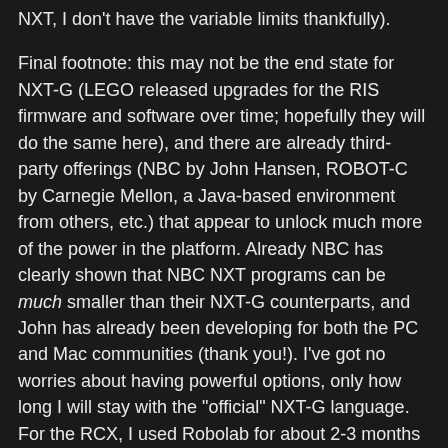NXT, I don't have the variable limits thankfully).
Final footnote: this may not be the end state for NXT-G (LEGO released upgrades for the RIS firmware and software over time; hopefully they will do the same here), and there are already third-party offerings (NBC by John Hansen, ROBOT-C by Carnegie Mellon, a Java-based environment from others, etc.) that appear to unlock much more of the power in the platform. Already NBC has clearly shown that NBC NXT programs can be much smaller than their NXT-G counterparts, and John has already been developing for both the PC and Mac communities (thank you!). I've got no worries about having powerful options, only how long I will stay with the "official" NXT-G language. For the RCX, I used Robolab for about 2-3 months before I moved on to NQC... for the NXT, I've not yet begun to tap the potentials of NXT after at least that long. And that's good news.